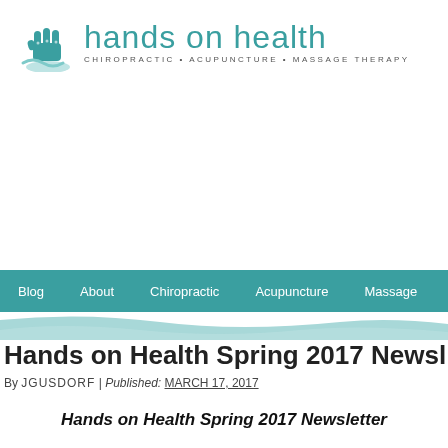[Figure (logo): Hands on Health logo with teal fist/hand icon and text 'hands on health', subtext 'CHIROPRACTIC · ACUPUNCTURE · MASSAGE THERAPY']
Blog  About  Chiropractic  Acupuncture  Massage
Hands on Health Spring 2017 Newsletter
By JGUSDORF | Published: MARCH 17, 2017
Hands on Health Spring 2017 Newsletter